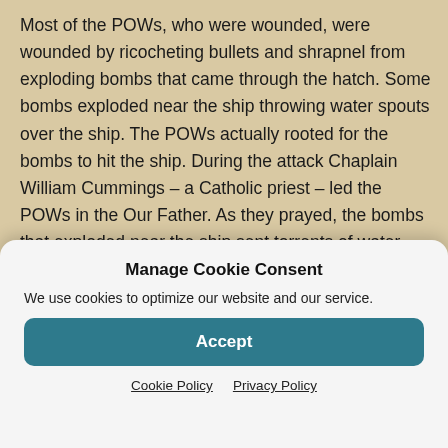Most of the POWs, who were wounded, were wounded by ricocheting bullets and shrapnel from exploding bombs that came through the hatch. Some bombs exploded near the ship throwing water spouts over the ship. The POWs actually rooted for the bombs to hit the ship. During the attack Chaplain William Cummings – a Catholic priest – led the POWs in the Our Father. As they prayed, the bombs that exploded near the ship sent torrents of water over the ship. Bullets from the planes hit the metal plates, of the hull, at an angle that prevented most of them from penetrating the haul. Somewhere on the ship, a fire
Manage Cookie Consent
We use cookies to optimize our website and our service.
Accept
Cookie Policy   Privacy Policy